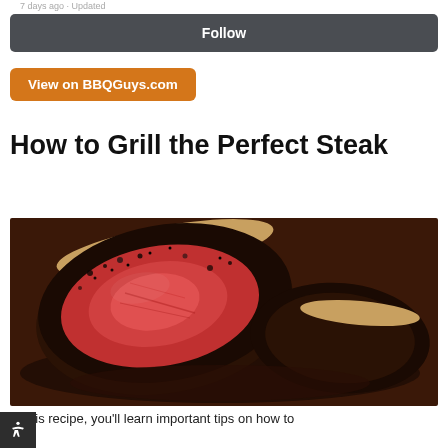7 days ago · Updated
Follow
View on BBQGuys.com
How to Grill the Perfect Steak
[Figure (photo): Close-up of a sliced grilled steak with dark crust and red medium-rare interior on a wooden board]
In this recipe, you'll learn important tips on how to